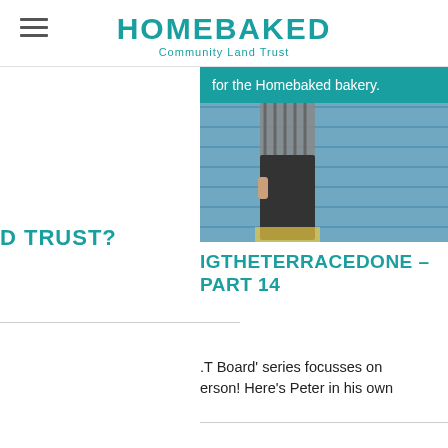HOMEBAKED Community Land Trust
for the Homebaked bakery.
[Figure (photo): Person standing outdoors near blue tarpaulin or sheeting]
IGTHETERRACEDONE – PART 14
D TRUST?
.T Board' series focusses on erson! Here's Peter in his own
al with the external auditors: 2 years & went straight into working in practice with